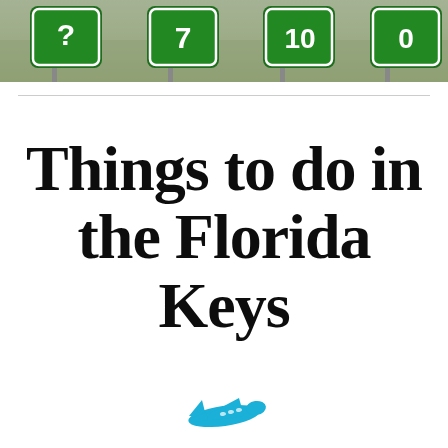[Figure (photo): Photo strip of green road signs on poles against a blurred outdoor background]
Things to do in the Florida Keys
[Figure (illustration): Blue airplane icon/silhouette pointing right, partially visible at bottom of page]